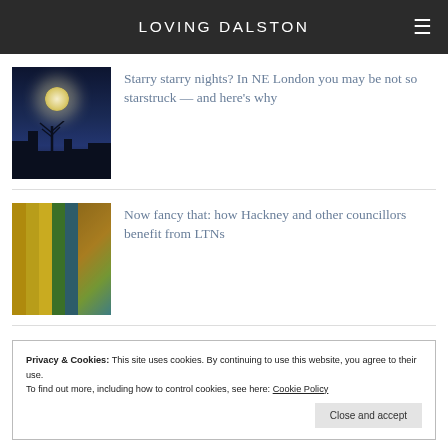LOVING DALSTON
[Figure (photo): Night sky with large moon glowing behind a silhouetted bare tree and dark building shapes]
Starry starry nights? In NE London you may be not so starstruck — and here's why
[Figure (photo): Colorful doorway or entrance with vertical yellow, orange and turquoise bars, view through to a courtyard]
Now fancy that: how Hackney and other councillors benefit from LTNs
Privacy & Cookies: This site uses cookies. By continuing to use this website, you agree to their use.
To find out more, including how to control cookies, see here: Cookie Policy
Close and accept